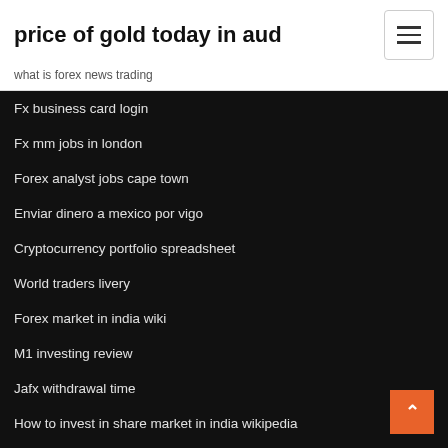price of gold today in aud
what is forex news trading
Fx business card login
Fx mm jobs in london
Forex analyst jobs cape town
Enviar dinero a mexico por vigo
Cryptocurrency portfolio spreadsheet
World traders livery
Forex market in india wiki
M1 investing review
Jafx withdrawal time
How to invest in share market in india wikipedia